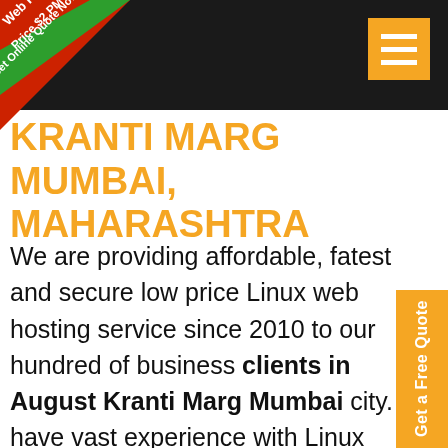Web Hosting Price $2 PM – Get Online Quote Now
KRANTI MARG MUMBAI, MAHARASHTRA
We are providing affordable, fatest and secure low price Linux web hosting service since 2010 to our hundred of business clients in August Kranti Marg Mumbai city. We have vast experience with Linux shared web hosting. We used terms LAMP ( Linux, Apache Server, Mysql Database, PHP ) for Linux hosting. According to the website size we are providing cheap website Linux Web hosting in every affordable pricing with online chat and email support in August Kranti Marg Mumbai. If you
[Figure (other): Orange side tab with text 'Get a Free Quote' rotated vertically]